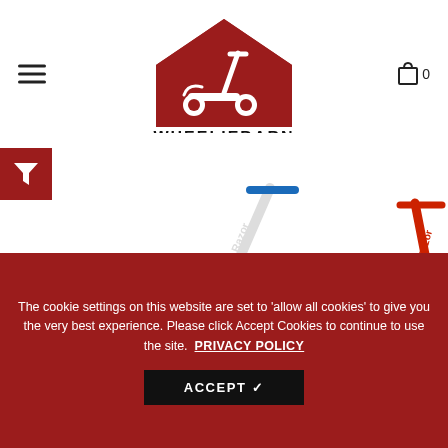[Figure (logo): WheeliBarn logo — red barn house with scooter silhouette inside, text WHEELIEBARN below]
[Figure (photo): Two Razor electric scooters side by side: white/blue E300 on the left, red E100 on the right]
The cookie settings on this website are set to 'allow all cookies' to give you the very best experience. Please click Accept Cookies to continue to use the site.
PRIVACY POLICY
ACCEPT ✔